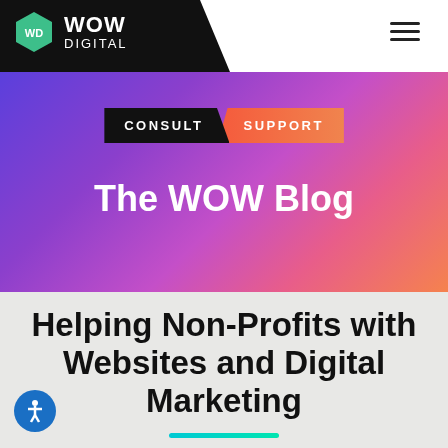WOW DIGITAL
[Figure (screenshot): WOW Digital logo with hexagon icon and navigation bar with hamburger menu]
[Figure (infographic): Purple-to-orange gradient hero banner with CONSULT and SUPPORT tab labels and The WOW Blog title]
The WOW Blog
CONSULT  SUPPORT
Helping Non-Profits with Websites and Digital Marketing